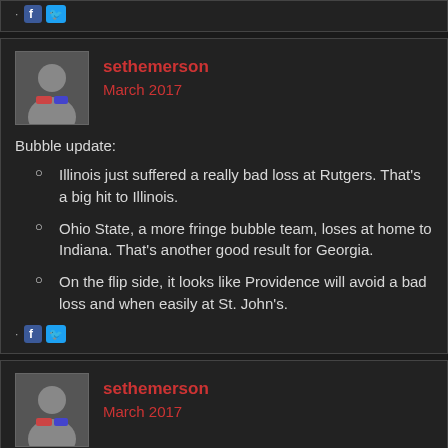· [facebook] [twitter]
sethemerson
March 2017
Bubble update:
Illinois just suffered a really bad loss at Rutgers. That's a big hit to Illinois.
Ohio State, a more fringe bubble team, loses at home to Indiana. That's another good result for Georgia.
On the flip side, it looks like Providence will avoid a bad loss and when easily at St. John's.
· [facebook] [twitter]
sethemerson
March 2017
Texas A&M's loss to Kentucky means Georgia can fall no